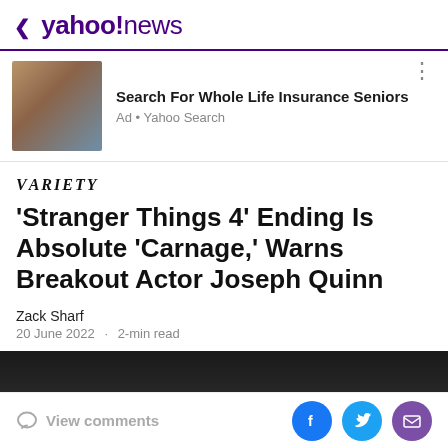< yahoo!news
[Figure (photo): Couple embracing, used as ad image for whole life insurance]
Search For Whole Life Insurance Seniors
Ad • Yahoo Search
[Figure (logo): Variety magazine logo in italic serif font]
'Stranger Things 4' Ending Is Absolute 'Carnage,' Warns Breakout Actor Joseph Quinn
Zack Sharf
20 June 2022 · 2-min read
[Figure (photo): Dark image strip at bottom of article]
View comments